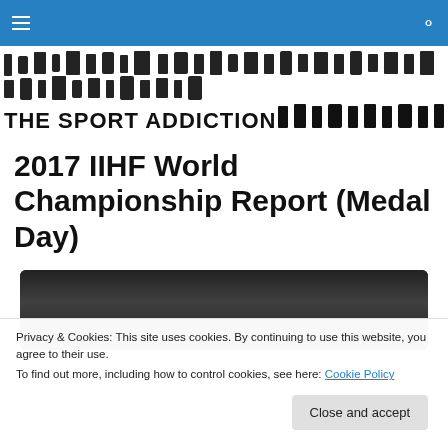Navigation bar with hamburger menu and search icon
[Figure (logo): The Sport Addiction logo with athlete silhouettes and bold text]
2017 IIHF World Championship Report (Medal Day)
[Figure (photo): Dark photo/image related to the article, partially visible]
Privacy & Cookies: This site uses cookies. By continuing to use this website, you agree to their use.
To find out more, including how to control cookies, see here: Cookie Policy
Close and accept